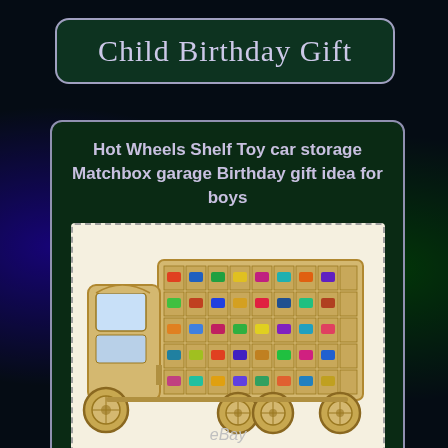Child Birthday Gift
Hot Wheels Shelf Toy car storage Matchbox garage Birthday gift idea for boys
[Figure (photo): Wooden toy truck shelf unit shaped like a semi-truck with a trailer section that has multiple compartments filled with small die-cast toy cars (Hot Wheels/Matchbox style). The truck is made of light-colored wood (plywood) and sits against a white/cream background. eBay watermark visible at the bottom.]